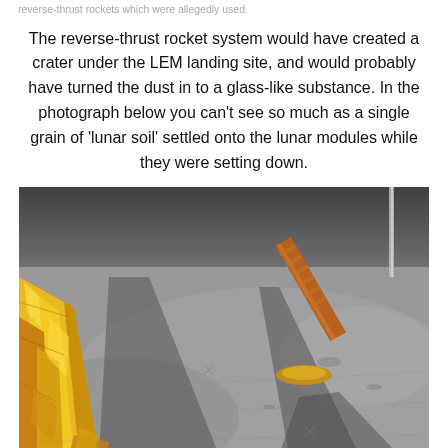reverse-thrust rockets which were allegedly used.
The reverse-thrust rocket system would have created a crater under the LEM landing site, and would probably have turned the dust in to a glass-like substance. In the photograph below you can't see so much as a single grain of 'lunar soil' settled onto the lunar modules while they were setting down.
[Figure (photo): Close-up photograph of a lunar module landing leg and foot pad resting on the lunar surface. The left side shows gold-foil covered strut of the lunar module. A leg/probe extending diagonally with an orange/brown wrapped contact probe is visible in the upper center. The lunar surface appears smooth grey with shadows cast across it. No visible dust or soil disturbance around the footpad.]